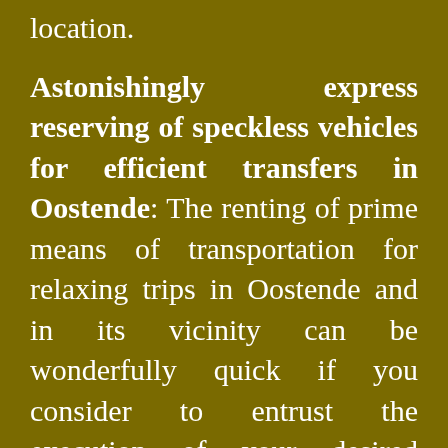location.
Astonishingly express reserving of speckless vehicles for efficient transfers in Oostende: The renting of prime means of transportation for relaxing trips in Oostende and in its vicinity can be wonderfully quick if you consider to entrust the execution of your desired ground transfer runs to our competent staff. Depending on the size of your travellers party, we have either sedans, limousines and cars, or microbuses, minibuses and minivans, or terrific buses and